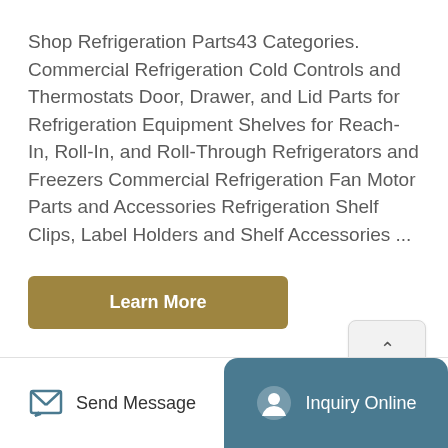Shop Refrigeration Parts43 Categories. Commercial Refrigeration Cold Controls and Thermostats Door, Drawer, and Lid Parts for Refrigeration Equipment Shelves for Reach-In, Roll-In, and Roll-Through Refrigerators and Freezers Commercial Refrigeration Fan Motor Parts and Accessories Refrigeration Shelf Clips, Label Holders and Shelf Accessories ...
Learn More
TOP
Send Message | Inquiry Online